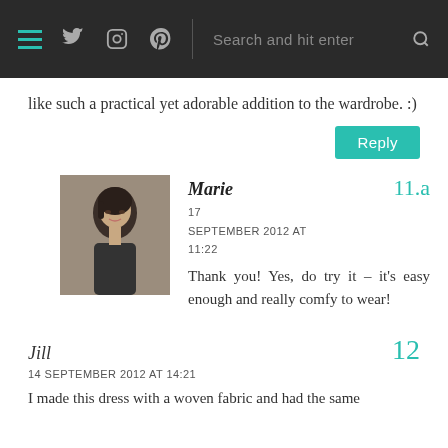Navigation bar with menu, social icons, and search
like such a practical yet adorable addition to the wardrobe. :)
Reply
Marie — 11.a — 17 SEPTEMBER 2012 AT 11:22 — Thank you! Yes, do try it – it's easy enough and really comfy to wear!
Jill — 12 — 14 SEPTEMBER 2012 AT 14:21 — I made this dress with a woven fabric and had the same